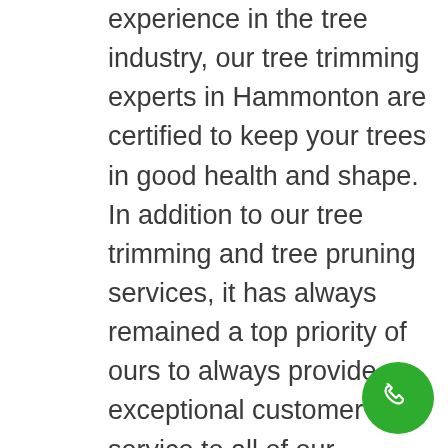experience in the tree industry, our tree trimming experts in Hammonton are certified to keep your trees in good health and shape. In addition to our tree trimming and tree pruning services, it has always remained a top priority of ours to always provide exceptional customer service to all of our Hammonton clients. As your trusted tree company in Hammonton we'll not only improve the look of your trees substantially, but ensure that the area is free of any tree-related hazards. Reach out to the pros at Big Timber today for a free estimate on your Hammonton yard or property!
[Figure (other): Green circular phone/call button in the bottom right corner]